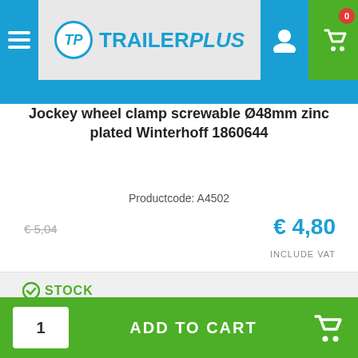[Figure (logo): TrailerPlus logo with circular TP icon and navigation header including user icon and shopping cart with badge showing 0]
Jockey wheel clamp screwable Ø48mm zinc plated Winterhoff 1860644
Productcode: A4502
€ 5,04 (strikethrough old price) € 4,80 (new price) INCLUDE VAT
✓ STOCK
1  ADD TO CART